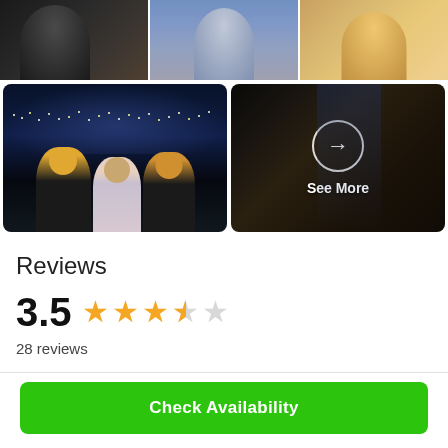[Figure (photo): Top photo strip showing three people: person in dark clothing on left, person in light blue shirt in center, person smiling on right]
[Figure (photo): Bottom-left photo: three women posing at night with city lights in background]
[Figure (photo): Bottom-right photo: dark alley/street scene with a circle arrow icon and 'See More' text overlay]
Reviews
3.5  ★★★★☆  28 reviews
Check Availability